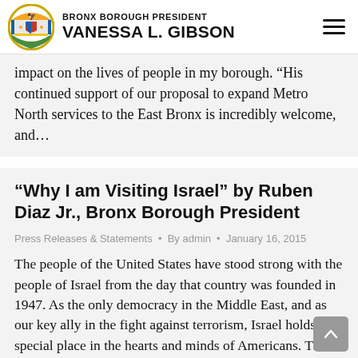BRONX BOROUGH PRESIDENT VANESSA L. GIBSON
impact on the lives of people in my borough. “His continued support of our proposal to expand Metro North services to the East Bronx is incredibly welcome, and…
“Why I am Visiting Israel” by Ruben Diaz Jr., Bronx Borough President
Press Releases & Statements • By admin • January 16, 2015
The people of the United States have stood strong with the people of Israel from the day that country was founded in 1947. As the only democracy in the Middle East, and as our key ally in the fight against terrorism, Israel holds a special place in the hearts and minds of Americans. This is